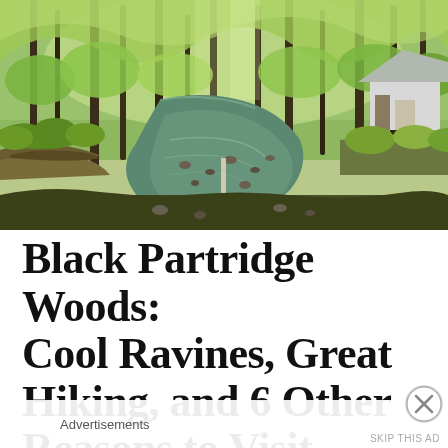[Figure (photo): A forest creek with clear shallow water flowing over rocks and pebbles, surrounded by lush green spring foliage on both banks. A small structure with a grey roof is visible in the upper right background among the trees.]
Black Partridge Woods: Cool Ravines, Great Hiking, and 6 Other Reasons to Visit
Advertisements